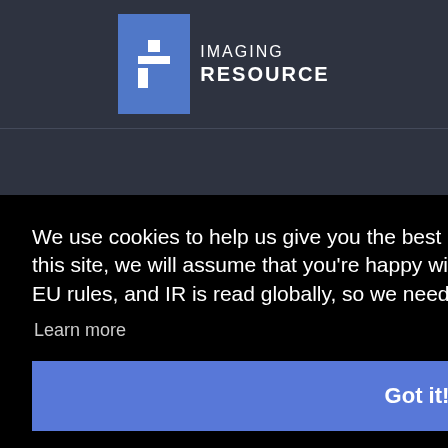[Figure (logo): Imaging Resource logo with blue square icon and white text reading IMAGING RESOURCE]
CAMERA REVIEWS   COMPARE CAMERAS   COMPACT CAMERAS   COMPARE IMAGES
We use cookies to help us give you the best experience on IR. If you continue to use this site, we will assume that you're happy with this. This notice is required by recent EU rules, and IR is read globally, so we need to keep the bureaucrats off our case!
Learn more
Got it!
Imaging Resource.